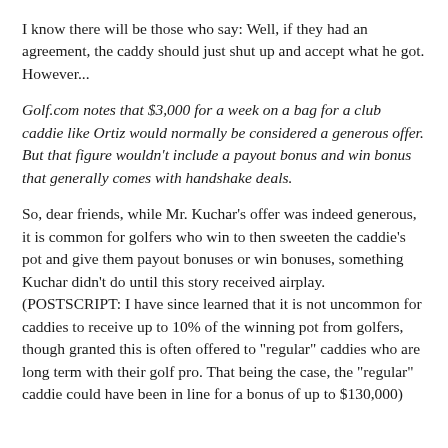I know there will be those who say: Well, if they had an agreement, the caddy should just shut up and accept what he got. However...
Golf.com notes that $3,000 for a week on a bag for a club caddie like Ortiz would normally be considered a generous offer. But that figure wouldn't include a payout bonus and win bonus that generally comes with handshake deals.
So, dear friends, while Mr. Kuchar's offer was indeed generous, it is common for golfers who win to then sweeten the caddie's pot and give them payout bonuses or win bonuses, something Kuchar didn't do until this story received airplay. (POSTSCRIPT: I have since learned that it is not uncommon for caddies to receive up to 10% of the winning pot from golfers, though granted this is often offered to "regular" caddies who are long term with their golf pro. That being the case, the "regular" caddie could have been in line for a bonus of up to $130,000)